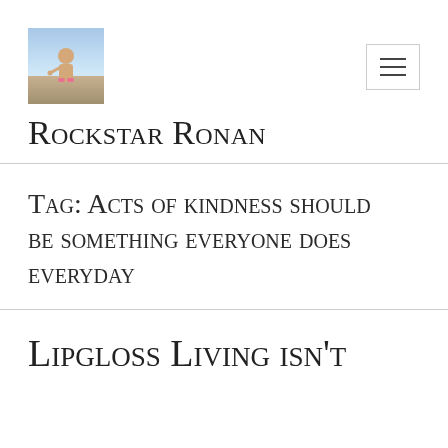[Figure (photo): Small square photo of a young child outdoors, shirtless, used as site logo/avatar]
ROCKSTAR RONAN
Tag: Acts of kindness should be something everyone does everyday
Lipgloss Living isn't